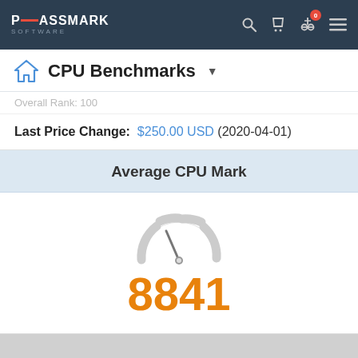PassMark Software — CPU Benchmarks navigation bar
CPU Benchmarks
Overall Rank: 100
Last Price Change: $250.00 USD (2020-04-01)
Average CPU Mark
[Figure (other): Speedometer gauge icon showing CPU benchmark score of 8841]
8841